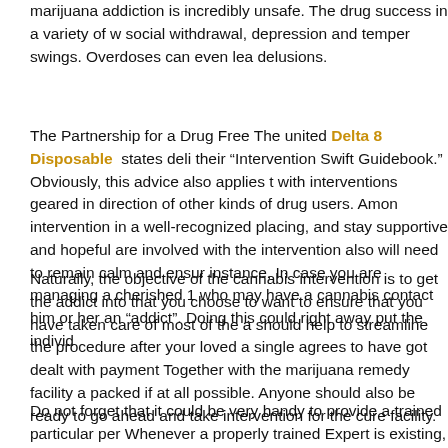marijuana addiction is incredibly unsafe. The drug success in a variety of ways: social withdrawal, depression and temper swings. Overdoses can even lead to delusions.
The Partnership for a Drug Free The united Delta 8 Disposable states delivers their "Intervention Swift Guidebook." Obviously, this advice also applies to with interventions geared in direction of other kinds of drug users. Among intervention in a well-recognized placing, and stay supportive and hopeful are involved with the intervention also will need to remain calm and ensure instance, In case you are managing a cherished 1 who may have a cannabis contact him or her an "addict". Doing this could right away put the individ.
Naturally, the objective of the cannabis intervention is to get the addict into that you choose to want to ensure that you have taken care of most of the a should help to streamline the procedure after your loved a single agrees to have got dealt with payment Together with the marijuana remedy facility a packed if at all possible. Anyone should also be ready to go ahead and take intervention for the cure facility.
Do not forget that it could be very handy to provide a trained particular per Whenever a properly trained Expert is existing, the chances that an addict enhanced. Also the interventionist may help tutorial the intervention contri